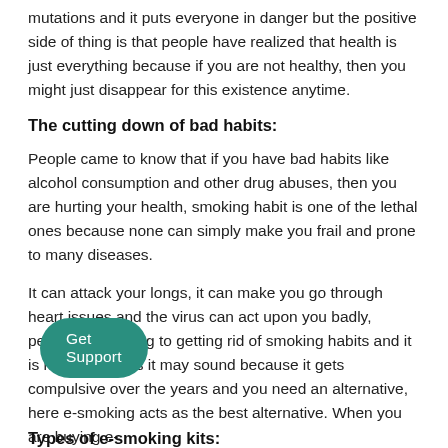mutations and it puts everyone in danger but the positive side of thing is that people have realized that health is just everything because if you are not healthy, then you might just disappear for this existence anytime.
The cutting down of bad habits:
People came to know that if you have bad habits like alcohol consumption and other drug abuses, then you are hurting your health, smoking habit is one of the lethal ones because none can simply make you frail and prone to many diseases.
It can attack your longs, it can make you go through heart issues and the virus can act upon you badly, people are looking to getting rid of smoking habits and it is not as easy as it may sound because it gets compulsive over the years and you need an alternative, here e-smoking acts as the best alternative. When you are buying e- you need to know what you have to hat is available.
[Figure (other): Green rounded button labeled 'Get Support']
Types of e-smoking kits: